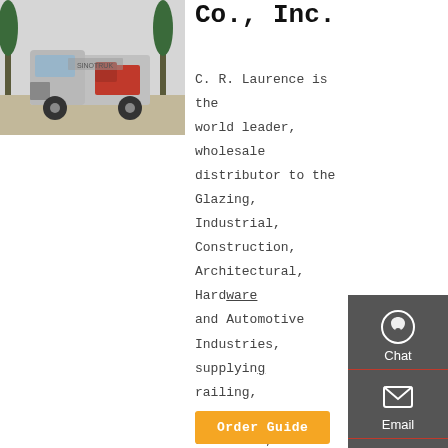[Figure (photo): Gray heavy-duty truck (appears to be a SINOTRUK HOWO or similar) parked outdoors with trees in background]
Co., Inc.
C. R. Laurence is the world leader, wholesale distributor to the Glazing, Industrial, Construction, Architectural, Hardware and Automotive Industries, supplying railing, windscreen, standoffs, and other supplies to major industries and manufacturers.